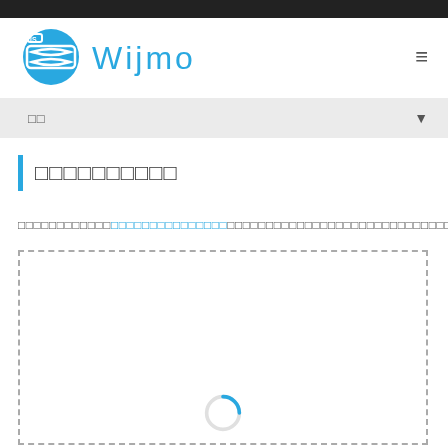Wijmo
□□□□□□□□□□
□□□□□□□□□□□□□□□□□□□□□□□□□□□□□□□□□□□□□□□□□□□□□□□□□
[Figure (screenshot): Demo area with dashed border and loading spinner]